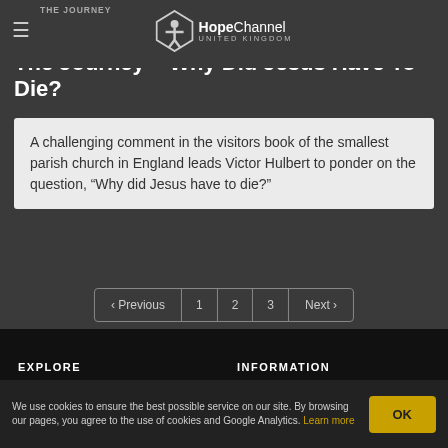THE JOURNEY — HopeChannel UNITED KINGDOM
The Journey – Why Did Jesus Have To Die?
A challenging comment in the visitors book of the smallest parish church in England leads Victor Hulbert to ponder on the question, “Why did Jesus have to die?”
[Figure (other): Pagination control with Previous, 1, 2, 3, Next buttons]
EXPLORE
INFORMATION
We use cookies to ensure the best possible service on our site. By browsing our pages, you agree to the use of cookies and Google Analytics. Learn more